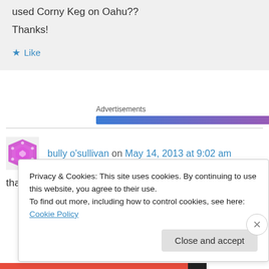used Corny Keg on Oahu??
Thanks!
★ Like
Advertisements
bully o'sullivan on May 14, 2013 at 9:02 am
thank you for spreading the craft beer doctrine!
Privacy & Cookies: This site uses cookies. By continuing to use this website, you agree to their use.
To find out more, including how to control cookies, see here: Cookie Policy
Close and accept